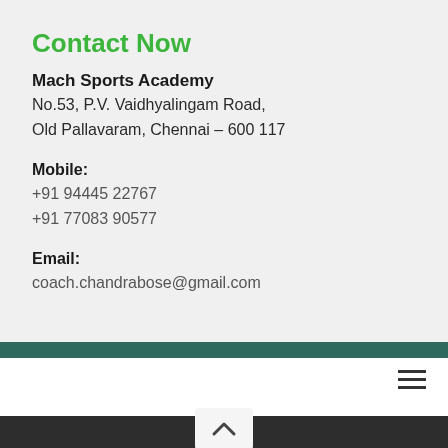Contact Now
Mach Sports Academy
No.53, P.V. Vaidhyalingam Road,
Old Pallavaram, Chennai – 600 117
Mobile:
+91 94445 22767
+91 77083 90577
Email:
coach.chandrabose@gmail.com